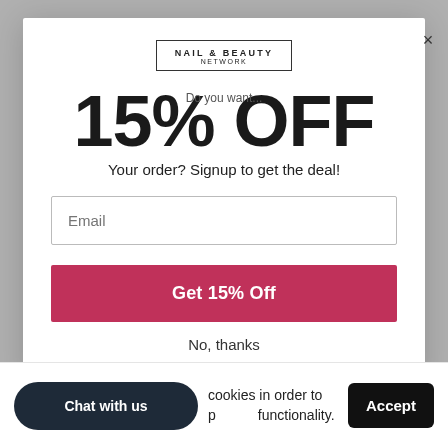[Figure (logo): Nail & Beauty Network logo in bordered rectangle]
15% OFF
Do you want...
Your order? Signup to get the deal!
Email (input placeholder)
Get 15% Off
No, thanks
Chat with us
cookies in order to provide functionality.
Accept
Award winning educators